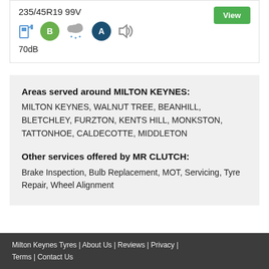235/45R19 99V
70dB
Areas served around MILTON KEYNES: MILTON KEYNES, WALNUT TREE, BEANHILL, BLETCHLEY, FURZTON, KENTS HILL, MONKSTON, TATTONHOE, CALDECOTTE, MIDDLETON
Other services offered by MR CLUTCH: Brake Inspection, Bulb Replacement, MOT, Servicing, Tyre Repair, Wheel Alignment
Milton Keynes Tyres | About Us | Reviews | Privacy | Terms | Contact Us